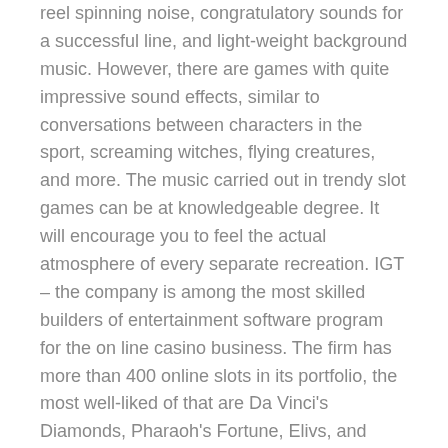reel spinning noise, congratulatory sounds for a successful line, and light-weight background music. However, there are games with quite impressive sound effects, similar to conversations between characters in the sport, screaming witches, flying creatures, and more. The music carried out in trendy slot games can be at knowledgeable degree. It will encourage you to feel the actual atmosphere of every separate recreation. IGT – the company is among the most skilled builders of entertainment software program for the on line casino business. The firm has more than 400 online slots in its portfolio, the most well-liked of that are Da Vinci's Diamonds, Pharaoh's Fortune, Elivs, and Monopoly dream life.
GrandeVegas is a noluckneeded.com licensed and recommended on line casino due to their long history of dependable funds and good customer service, and things of that matter. Not to divert any consideration from the industry leaders like Netent, online slot machines play for money Florida. My 2.5 yr old really liked their play home and the small ball pit